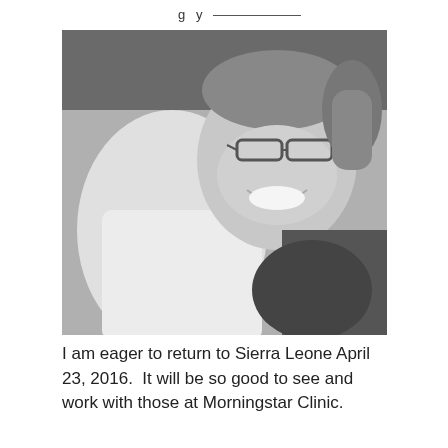g y
[Figure (photo): Black and white photograph of a smiling man wearing glasses being hugged by a child in a white shirt. The man appears joyful and is embracing the child. The image has a warm, humanitarian feel.]
I am eager to return to Sierra Leone April 23, 2016.  It will be so good to see and work with those at Morningstar Clinic.